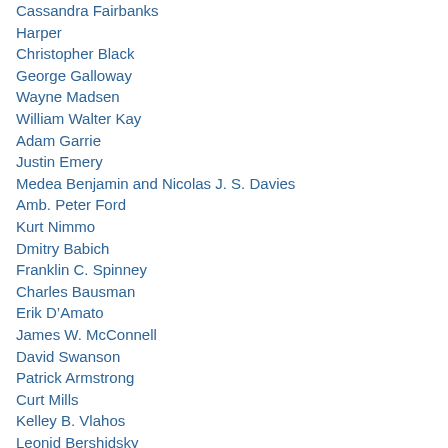Cassandra Fairbanks
Harper
Christopher Black
George Galloway
Wayne Madsen
William Walter Kay
Adam Garrie
Justin Emery
Medea Benjamin and Nicolas J. S. Davies
Amb. Peter Ford
Kurt Nimmo
Dmitry Babich
Franklin C. Spinney
Charles Bausman
Erik D'Amato
James W. McConnell
David Swanson
Patrick Armstrong
Curt Mills
Kelley B. Vlahos
Leonid Bershidsky
Ron Unz
Karl-Friedrich Israel
David Gornoski